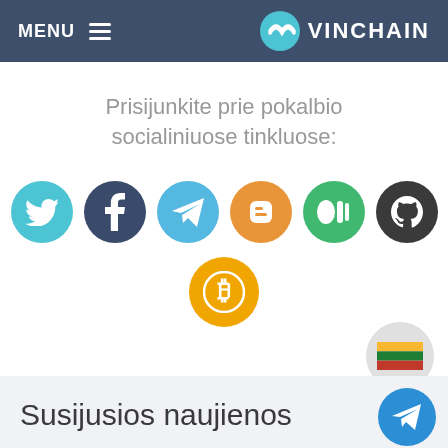MENU | VINCHAIN
Prisijunkite prie pokalbio socialiniuose tinkluose:
[Figure (illustration): Row of social media icon circles: Twitter (teal), Facebook (dark blue), Telegram (light blue), Blogger (orange), Medium (green), GitHub (dark gray), and Bitcoin (gold) centered below]
[Figure (illustration): Lithuanian flag inside a light gray circle, positioned at bottom right]
[Figure (illustration): Telegram paper plane icon in a blue circle, floating at bottom right]
Susijusios naujienos